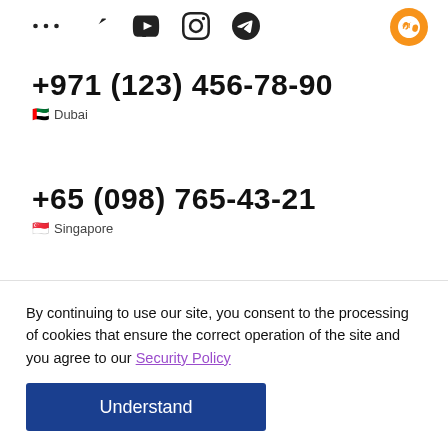[Figure (other): Social media icons row: VK, YouTube, Instagram, Telegram (dark icons), and Bitcoin orange circular icon top right]
+971 (123) 456-78-90
🇦🇪 Dubai
+65 (098) 765-43-21
🇸🇬 Singapore
By continuing to use our site, you consent to the processing of cookies that ensure the correct operation of the site and you agree to our Security Policy
Understand